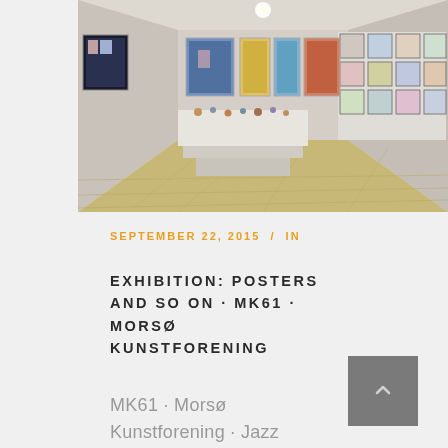[Figure (photo): Interior of an art gallery showing framed posters/artworks hung on white walls, a display table in the center, and a wooden floor. Multiple colorful prints are visible along the walls.]
SEPTEMBER 22, 2015  /  IN
EXHIBITION: POSTERS AND SO ON · MK61 · MORSØ KUNSTFORENING
MK61 · Morsø Kunstforening · Jazz udstæremdealling fi 20